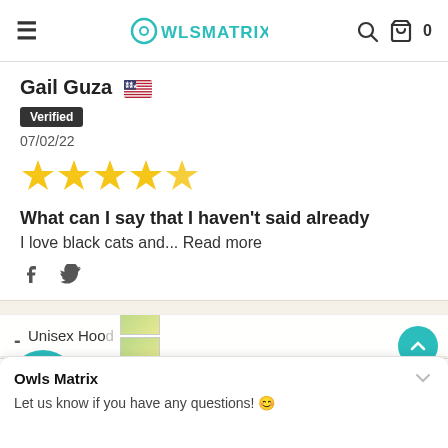Owlsmatrix — navigation bar with hamburger menu, logo, search and cart icons
Gail Guza 🇺🇸
Verified
07/02/22
[Figure (other): 5 yellow star rating]
What can I say that I haven't said already
I love black cats and... Read more
[Figure (other): Facebook and Twitter social share icons]
ck Cat Amazing Style 5 Limited Edition - s Open Back Camisole Tank Top - CROT02NGA010721
Unisex Hood
Owls Matrix
Let us know if you have any questions! 😊